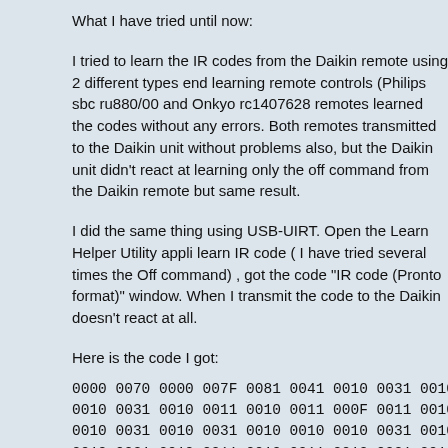What I have tried until now:
I tried to learn the IR codes from the Daikin remote using 2 different types end learning remote controls (Philips sbc ru880/00 and Onkyo rc1407628 remotes learned the codes without any errors. Both remotes transmitted to the Daikin unit without problems also, but the Daikin unit didn't react at learning only the off command from the Daikin remote but same result.
I did the same thing using USB-UIRT. Open the Learn Helper Utility appli learn IR code ( I have tried several times the Off command) , got the code "IR code (Pronto format)" window. When I transmit the code to the Daikin doesn't react at all.
Here is the code I got:
0000 0070 0000 007F 0081 0041 0010 0031 0010 0011 0010 0010 0010
0010 0031 0010 0011 0010 0011 000F 0011 0010 0011 0010 0031 0010
0010 0031 0010 0031 0010 0010 0010 0031 0010 0031 0010 0031 0010
0010 0031 0010 0011 0010 0011 0010 0031 0010 0011 000F 0011 0010
0010 0011 0010 0010 0010 0011 0010 0011 0010 0011 000F 0011 0010
0010 0011 000F 0011 0010 0011 0010 0011 0010 0010 0010 0011 0010
0010 0011 000F 0011 0010 0011 0010 0011 0010 0031 0010 0010 0010
0010 0011 0010 0011 000F 0011 0010 0031 0010 0011 0010 0031 0010
000F 0032 000F 0011 0010 0011 0010 0011 0010 0010 0010 0011 0010
0010 0011 000F 0011 0010 0011 0010 0011 0010 0010 0010 0011 000